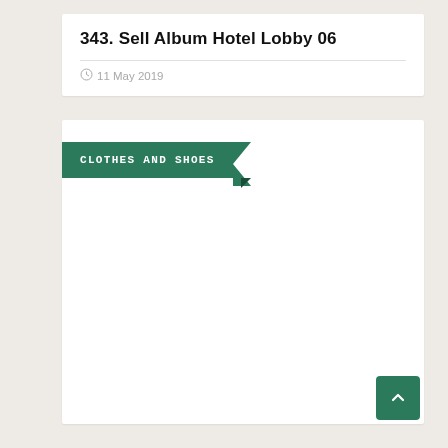343. Sell Album Hotel Lobby 06
11 May 2019
CLOTHES AND SHOES